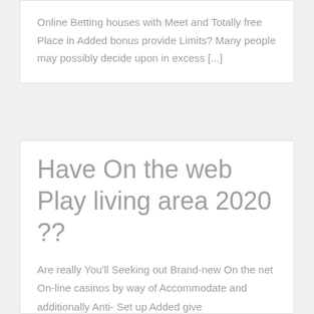Online Betting houses with Meet and Totally free Place in Added bonus provide Limits? Many people may possibly decide upon in excess [...]
Have On the web Play living area 2020 ??
Are really You'll Seeking out Brand-new On the net On-line casinos by way of Accommodate and additionally Anti- Set up Added give Disadvantages? All those could possibly pick